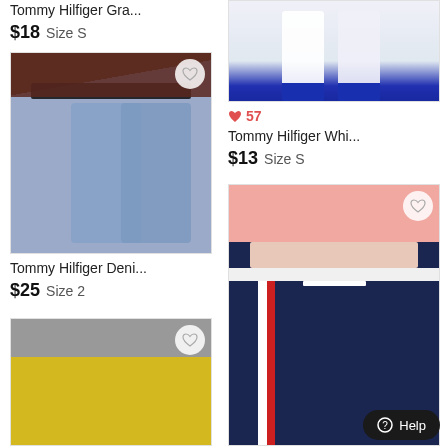Tommy Hilfiger Gra...
$18  Size S
[Figure (photo): Woman wearing Tommy Hilfiger denim jeans with branded waistband, brown jacket]
Tommy Hilfiger Deni...
$25  Size 2
[Figure (photo): Yellow shorts on gray background, partial view]
[Figure (photo): Tommy Hilfiger white pants with blue cuffs, hanging]
♥ 57
Tommy Hilfiger Whi...
$13  Size S
[Figure (photo): Woman wearing Tommy Hilfiger navy sweatpants with red/white stripe, pink crop top]
Help